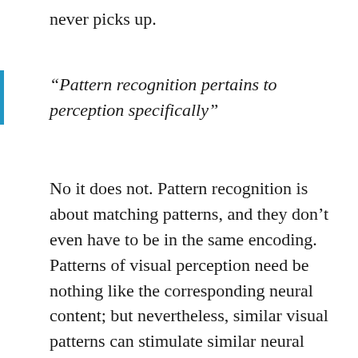never picks up.
“Pattern recognition pertains to perception specifically”
No it does not. Pattern recognition is about matching patterns, and they don’t even have to be in the same encoding. Patterns of visual perception need be nothing like the corresponding neural content; but nevertheless, similar visual patterns can stimulate similar neural firing patterns. There can be a correspondence between visual patterns as perceived and patterns in neural circuits, synaptic connections, firing,